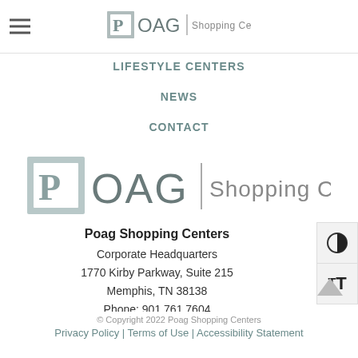POAG Shopping Centers (logo + hamburger menu)
LIFESTYLE CENTERS
NEWS
CONTACT
[Figure (logo): POAG Shopping Centers logo — large P in a square followed by OAG, vertical bar, Shopping Centers text]
Poag Shopping Centers
Corporate Headquarters
1770 Kirby Parkway, Suite 215
Memphis, TN 38138
Phone: 901.761.7604
Fax: 901.761.5325
© Copyright 2022 Poag Shopping Centers
Privacy Policy | Terms of Use | Accessibility Statement